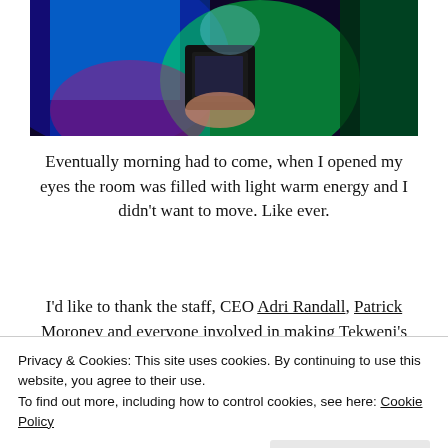[Figure (photo): Person holding a camera/device in a dark room with colorful neon blue, green, pink lighting]
Eventually morning had to come, when I opened my eyes the room was filled with light warm energy and I didn't want to move. Like ever.
I'd like to thank the staff, CEO Adri Randall, Patrick Moroney and everyone involved in making Tekweni's
Privacy & Cookies: This site uses cookies. By continuing to use this website, you agree to their use.
To find out more, including how to control cookies, see here: Cookie Policy
Close and accept